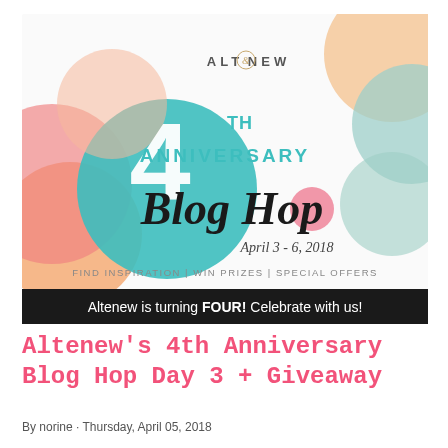[Figure (illustration): Altenew 4th Anniversary Blog Hop promotional banner with colorful circles in teal, peach/coral, sage green, pink, and orange. Features the Altenew logo at top, large '4TH ANNIVERSARY' text, 'Blog Hop' in script font, 'April 3 - 6, 2018' date, 'FIND INSPIRATION | WIN PRIZES | SPECIAL OFFERS' tagline, and a black bar reading 'Altenew is turning FOUR! Celebrate with us!']
Altenew's 4th Anniversary Blog Hop Day 3 + Giveaway
By norine · Thursday, April 05, 2018